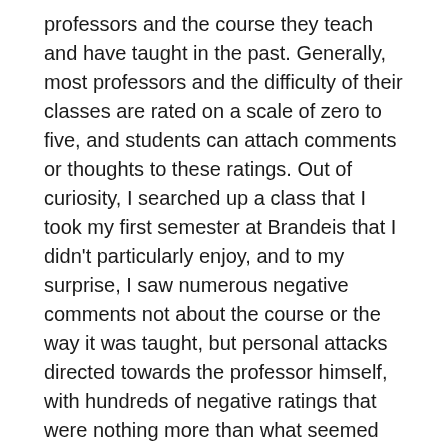professors and the course they teach and have taught in the past. Generally, most professors and the difficulty of their classes are rated on a scale of zero to five, and students can attach comments or thoughts to these ratings. Out of curiosity, I searched up a class that I took my first semester at Brandeis that I didn't particularly enjoy, and to my surprise, I saw numerous negative comments not about the course or the way it was taught, but personal attacks directed towards the professor himself, with hundreds of negative ratings that were nothing more than what seemed like a group of disgruntled students seeking retribution for a bad grade on a paper.
Following this experience, I began to see RateMyProfessor as a way to vet professors and classes before I took them, to the point where if I even just glanced upon a course whose subject matter seemed interesting, I would immediately go onto RateMyProfessor to see what other students had to